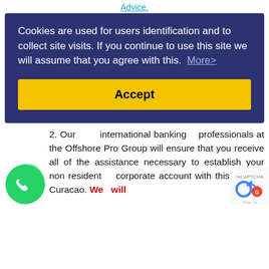Advice.
Cookies are used for users identification and to collect site visits. If you continue to use this site we will assume that you agree with this. More>
Accept
(partial line)
2. Our international banking professionals at the Offshore Pro Group will ensure that you receive all of the assistance necessary to establish your non resident corporate account with this bank in Curacao. We will
[Figure (logo): WhatsApp green phone icon]
[Figure (logo): reCAPTCHA badge partial]